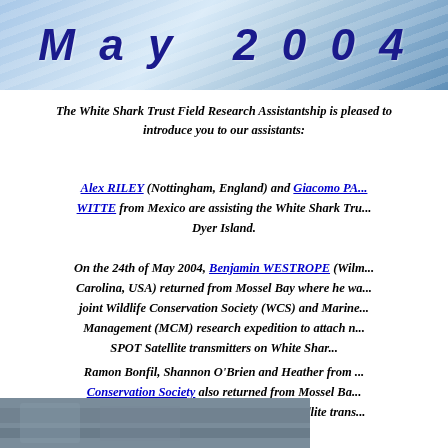[Figure (illustration): May 2004 header banner with ocean wave background and dark blue italic bold text reading 'May 2004']
The White Shark Trust Field Research Assistantship is pleased to introduce you to our assistants:
Alex RILEY (Nottingham, England) and Giacomo PA... WITTE from Mexico are assisting the White Shark Tru... Dyer Island.
On the 24th of May 2004, Benjamin WESTROPE (Wilm... Carolina, USA) returned from Mossel Bay where he wa... joint Wildlife Conservation Society (WCS) and Marine... Management (MCM) research expedition to attach n... SPOT Satellite transmitters on White Shar...
Ramon Bonfil, Shannon O'Brien and Heather from ... Conservation Society also returned from Mossel Ba... managed to attach eight near-real-time satellite trans... dorsal fins of White Sharks.
[Figure (photo): Partial photo visible at bottom of page, appears to be an ocean or shark-related image]